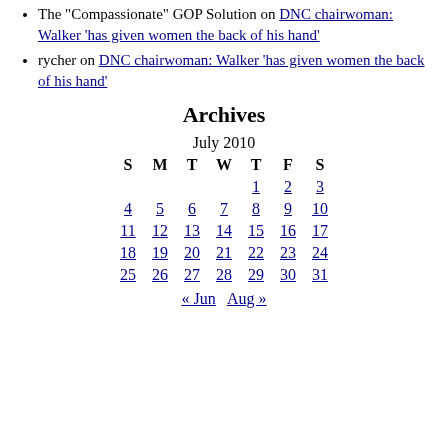The "Compassionate" GOP Solution on DNC chairwoman: Walker 'has given women the back of his hand'
rycher on DNC chairwoman: Walker 'has given women the back of his hand'
Archives
| S | M | T | W | T | F | S |
| --- | --- | --- | --- | --- | --- | --- |
|  |  |  |  | 1 | 2 | 3 |
| 4 | 5 | 6 | 7 | 8 | 9 | 10 |
| 11 | 12 | 13 | 14 | 15 | 16 | 17 |
| 18 | 19 | 20 | 21 | 22 | 23 | 24 |
| 25 | 26 | 27 | 28 | 29 | 30 | 31 |
« Jun   Aug »